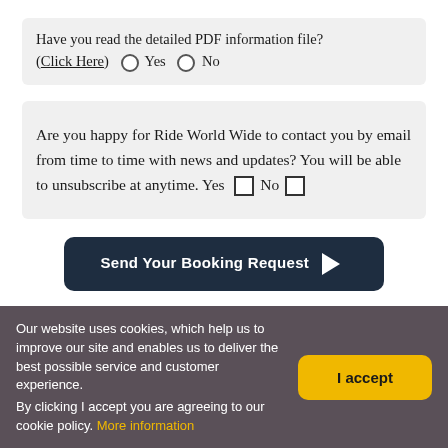Have you read the detailed PDF information file? (Click Here)  ○ Yes  ○ No
Are you happy for Ride World Wide to contact you by email from time to time with news and updates? You will be able to unsubscribe at anytime. Yes □ No □
Send Your Booking Request ▶
Our website uses cookies, which help us to improve our site and enables us to deliver the best possible service and customer experience.
By clicking I accept you are agreeing to our cookie policy. More information
I accept